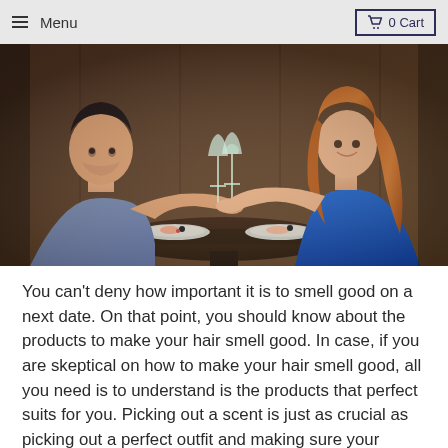Menu  0 Cart
[Figure (photo): A man and woman on a dinner date at a restaurant, clinking wine glasses over a table with food, looking at each other.]
You can't deny how important it is to smell good on a next date. On that point, you should know about the products to make your hair smell good. In case, if you are skeptical on how to make your hair smell good, all you need is to understand is the products that perfect suits for you. Picking out a scent is just as crucial as picking out a perfect outfit and making sure your